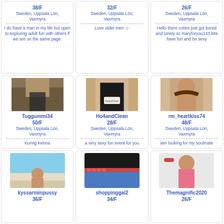38/F
Sweden, Uppsala Län, Vaxmyra
I do have a man in my life but open to exploring adult fun with others if we are on the same page.
32/F
Sweden, Uppsala Län, Vaxmyra
Love older men ☺
26/F
Sweden, Uppsala Län, Vaxmyra
Hello there cuties just got bored and lonely sc maryforyou143 lets have fun and be sexy
[Figure (photo): Woman in dark bra, close-up chest shot]
Tuggummi34
50/F
Sweden, Uppsala Län, Vaxmyra
Kurvig kvinna
[Figure (photo): Woman in black top holding sign saying HotandClean]
Ho4andClean
28/F
Sweden, Uppsala Län, Vaxmyra
a very sexy fun event for you
[Figure (photo): Woman with long brown hair smiling]
rm_heartkiss74
48/F
Sweden, Uppsala Län, Vaxmyra
iam looking for my soulmate
[Figure (photo): Woman on beach]
kyssarminpussy
36/F
[Figure (photo): Close-up of jeans with red studded belt]
shoppinggal2
34/F
[Figure (photo): Woman in pink bikini with red headband and tattoos]
Themagnific2020
26/F